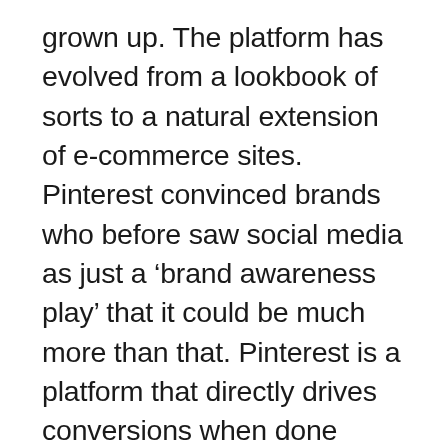grown up. The platform has evolved from a lookbook of sorts to a natural extension of e-commerce sites. Pinterest convinced brands who before saw social media as just a ‘brand awareness play’ that it could be much more than that. Pinterest is a platform that directly drives conversions when done right.
With the holidays underway, now is an ideal time for brands to ramp up Pinterest marketing to meet Q4 goals. Pinterest is a platform for planners (say that five times fast), so it’s likely users are going to be flocking to the site this holiday season to search for gifts, decorations, and the perfect holiday party